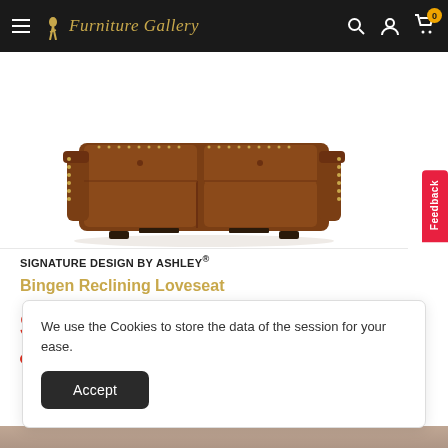Furniture Gallery
[Figure (photo): Brown leather reclining loveseat viewed from front, with nailhead trim detail and dual reclining seats]
SIGNATURE DESIGN BY ASHLEY®
Bingen Reclining Loveseat
$1,539.99  $2,539.99
Only 10 units left
We use the Cookies to store the data of the session for your ease.
Accept